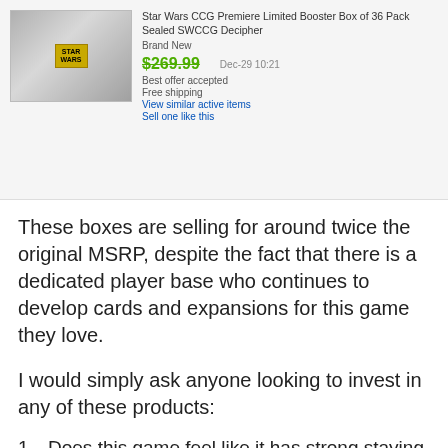[Figure (screenshot): eBay product listing screenshot for Star Wars CCG Premiere Limited Booster Box of 36 Pack Sealed SWCCG Decipher, showing product image, Brand New condition, price $269.99 struck through, Best offer accepted, Free shipping, date Dec-29 10:21, links for View similar active items and Sell one like this]
These boxes are selling for around twice the original MSRP, despite the fact that there is a dedicated player base who continues to develop cards and expansions for this game they love.
I would simply ask anyone looking to invest in any of these products:
Does this game feel like it has strong staying power?
Is this game more fun than Magic?
How well do I understand this game and are the current prices accurate of demand or are they heavily inflated?